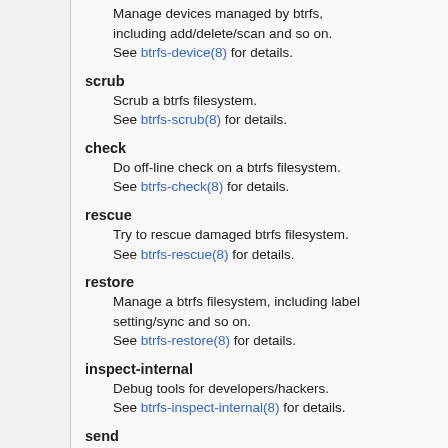Manage devices managed by btrfs, including add/delete/scan and so on. See btrfs-device(8) for details.
scrub
Scrub a btrfs filesystem. See btrfs-scrub(8) for details.
check
Do off-line check on a btrfs filesystem. See btrfs-check(8) for details.
rescue
Try to rescue damaged btrfs filesystem. See btrfs-rescue(8) for details.
restore
Manage a btrfs filesystem, including label setting/sync and so on. See btrfs-restore(8) for details.
inspect-internal
Debug tools for developers/hackers. See btrfs-inspect-internal(8) for details.
send
Send subvolume data to stdout/file for backup and etc. See btrfs-send(8) for details.